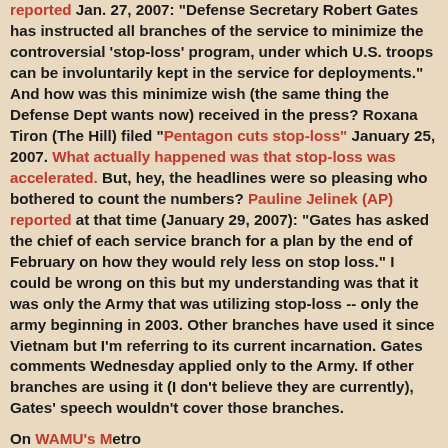reported Jan. 27, 2007: "Defense Secretary Robert Gates has instructed all branches of the service to minimize the controversial 'stop-loss' program, under which U.S. troops can be involuntarily kept in the service for deployments." And how was this minimize wish (the same thing the Defense Dept wants now) received in the press? Roxana Tiron (The Hill) filed "Pentagon cuts stop-loss" January 25, 2007. What actually happened was that stop-loss was accelerated. But, hey, the headlines were so pleasing who bothered to count the numbers? Pauline Jelinek (AP) reported at that time (January 29, 2007): "Gates has asked the chief of each service branch for a plan by the end of February on how they would rely less on stop loss." I could be wrong on this but my understanding was that it was only the Army that was utilizing stop-loss -- only the army beginning in 2003. Other branches have used it since Vietnam but I'm referring to its current incarnation. Gates comments Wednesday applied only to the Army. If other branches are using it (I don't believe they are currently), Gates' speech wouldn't cover those branches.
On WAMU's Metro...